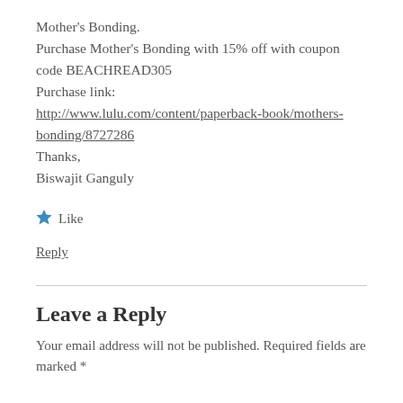Mother's Bonding.
Purchase Mother's Bonding with 15% off with coupon code BEACHREAD305
Purchase link:
http://www.lulu.com/content/paperback-book/mothers-bonding/8727286
Thanks,
Biswajit Ganguly
Like
Reply
Leave a Reply
Your email address will not be published. Required fields are marked *